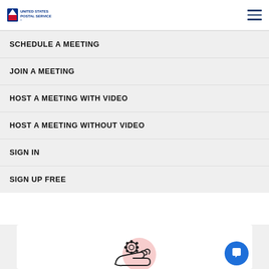United States Postal Service
SCHEDULE A MEETING
JOIN A MEETING
HOST A MEETING WITH VIDEO
HOST A MEETING WITHOUT VIDEO
SIGN IN
SIGN UP FREE
[Figure (illustration): Hand holding a gear/settings icon with a pink circle background — technical support illustration]
TECHNICAL SUPPORT